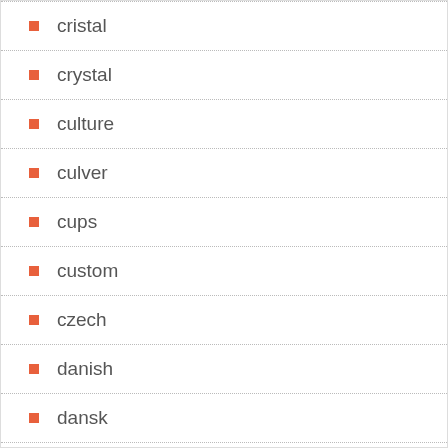cristal
crystal
culture
culver
cups
custom
czech
danish
dansk
dark